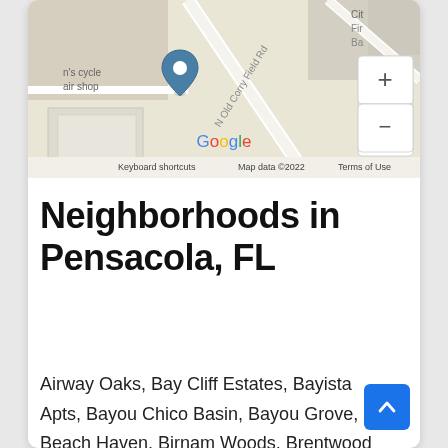[Figure (map): Google Maps screenshot showing a location pin on N Old Corry Field Rd near a cycle/repair shop. Map includes zoom controls (+ and -), Google logo, and footer text: Keyboard shortcuts | Map data ©2022 | Terms of Use.]
Neighborhoods in Pensacola, FL
Airway Oaks, Bay Cliff Estates, Bayista Apts, Bayou Chico Basin, Bayou Grove, Beach Haven, Birnam Woods, Brentwood Park,